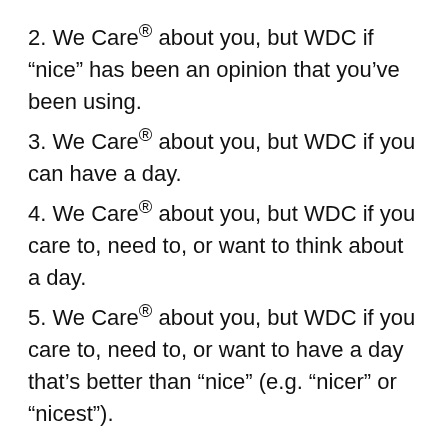2. We Care® about you, but WDC if “nice” has been an opinion that you’ve been using.
3. We Care® about you, but WDC if you can have a day.
4. We Care® about you, but WDC if you care to, need to, or want to think about a day.
5. We Care® about you, but WDC if you care to, need to, or want to have a day that’s better than “nice” (e.g. “nicer” or “nicest”).
* ↑ On a scale of 0% to 100% reliability (i.e. 0% equals zero reliability and 100% equals total reliability), “We Care®” is at 0% because, as the author explained under the INGREDIENTS list, we don’t care about you in